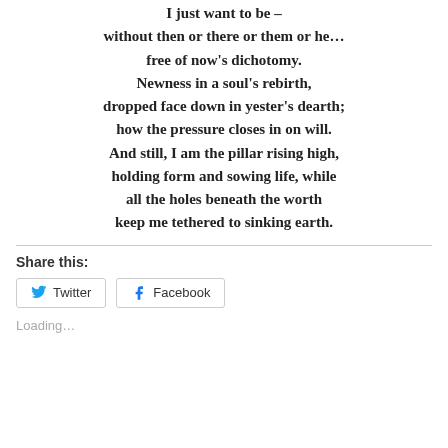I just want to be –
without then or there or them or he…
free of now's dichotomy.
Newness in a soul's rebirth,
dropped face down in yester's dearth;
how the pressure closes in on will.
And still, I am the pillar rising high,
holding form and sowing life, while
all the holes beneath the worth
keep me tethered to sinking earth.
Share this:
Twitter
Facebook
Loading...